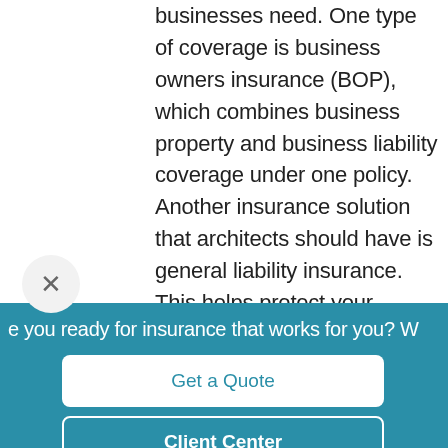businesses need. One type of coverage is business owners insurance (BOP), which combines business property and business liability coverage under one policy. Another insurance solution that architects should have is general liability insurance. This helps protect your business in case of injuries or damages caused by your business in the course of operations.
e you ready for insurance that works for you? W...
Get a Quote
Client Center